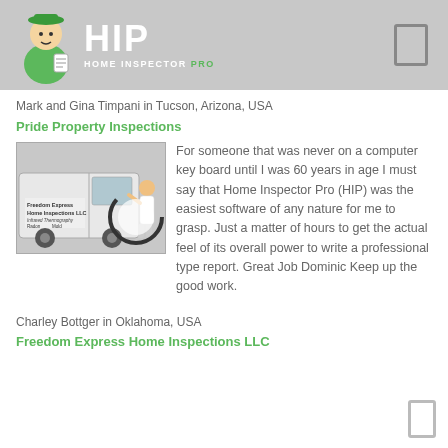[Figure (logo): Home Inspector Pro (HIP) logo with mascot character in green uniform, white HIP letters, and HOME INSPECTOR PRO text below]
Mark and Gina Timpani in Tucson, Arizona, USA
Pride Property Inspections
[Figure (photo): Man standing next to a white Freedom Express Home Inspections LLC van]
For someone that was never on a computer key board until I was 60 years in age I must say that Home Inspector Pro (HIP) was the easiest software of any nature for me to grasp. Just a matter of hours to get the actual feel of its overall power to write a professional type report. Great Job Dominic Keep up the good work.
Charley Bottger in Oklahoma, USA
Freedom Express Home Inspections LLC